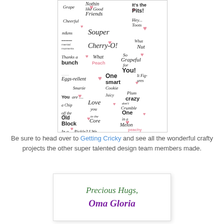[Figure (illustration): A collage-style rubber stamp or sticker sheet filled with fun food and candy-themed phrases in various fonts, sizes, and styles on a white background with pink heart decorations. Phrases include: Grape, Nothin like Good Friends, It's the Pits!, Cheerful, Hey... Toots, m&ms, Souper, mental moments, Cherry-O!, What Nut, Thanks a bunch, What a Peach, So Grapeful for You!, Eggs-rellent, One smart Cookie, It Figures, Smartie, You are..., Juicy, Plum crazy, a Chip, Love you, don't Crumble, off the Old Block, to the Core, One in a Melon, In a.... Pickle?, I, We, peachy Keen, Don't give up, That's, Jam-tastic!, Fruit-alicious]
Be sure to head over to Getting Cricky and see all the wonderful crafty projects the other super talented design team members made.
[Figure (illustration): A white card with a decorative border shadow containing a handwritten-style signature: 'Precious Hugs,' in green italic script, and 'Oma Gloria' in bold purple italic script below.]